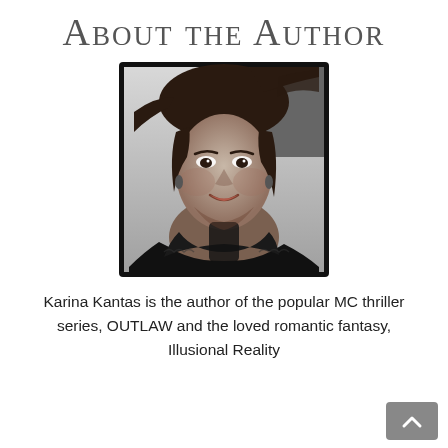About the Author
[Figure (photo): Black and white portrait photo of Karina Kantas, a woman with dark hair, smiling, wearing a dark fluffy coat, with a thick black border around the photo.]
Karina Kantas is the author of the popular MC thriller series, OUTLAW and the loved romantic fantasy, Illusional Reality